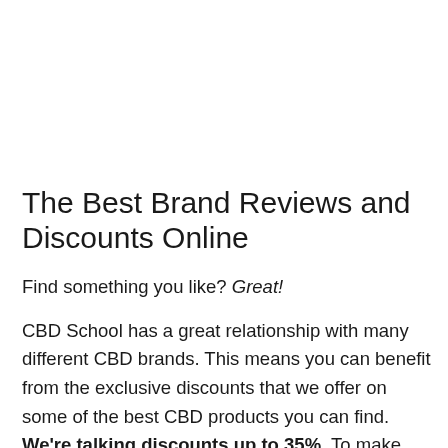The Best Brand Reviews and Discounts Online
Find something you like? Great!
CBD School has a great relationship with many different CBD brands. This means you can benefit from the exclusive discounts that we offer on some of the best CBD products you can find. We're talking discounts up to 35%. To make things even better, if